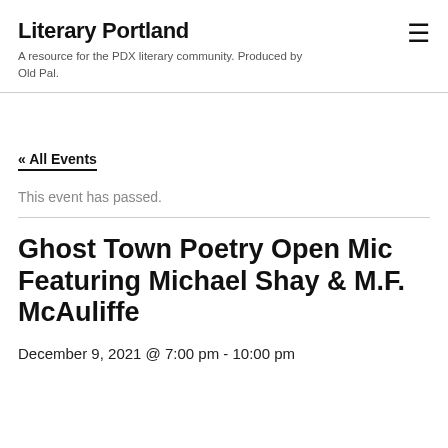Literary Portland
A resource for the PDX literary community. Produced by Old Pal.
« All Events
This event has passed.
Ghost Town Poetry Open Mic Featuring Michael Shay & M.F. McAuliffe
December 9, 2021 @ 7:00 pm - 10:00 pm